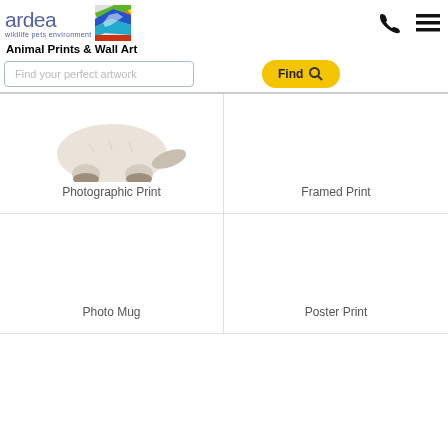[Figure (logo): Ardea wildlife pets environment logo with rainbow bird graphic]
Animal Prints & Wall Art
Find your perfect artwork
[Figure (photo): Partial photo of a cat (Birman/Siamese type) showing lower body and paws on white background — Photographic Print]
Photographic Print
Framed Print
Photo Mug
Poster Print